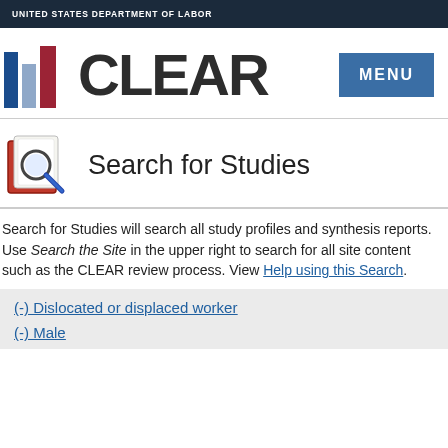UNITED STATES DEPARTMENT OF LABOR
[Figure (logo): CLEAR logo with bar chart icon and MENU button]
Search for Studies
Search for Studies will search all study profiles and synthesis reports. Use Search the Site in the upper right to search for all site content such as the CLEAR review process. View Help using this Search.
(-) Dislocated or displaced worker
(-) Male